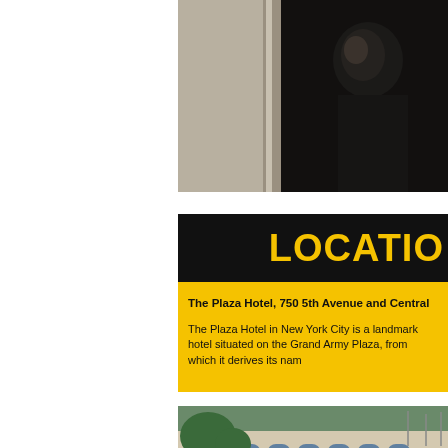[Figure (photo): Dark interior scene showing a person partially visible in shadow near a doorway with light-colored wall paneling]
LOCATIO
The Plaza Hotel, 750 5th Avenue and Central
The Plaza Hotel in New York City is a landmark hotel situated on the Grand Army Plaza, from which it derives its nam
[Figure (photo): Exterior photo of a building with trees and architectural facade visible]